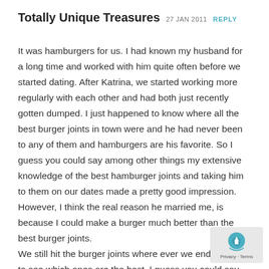Totally Unique Treasures 27 JAN 2011 REPLY
It was hamburgers for us. I had known my husband for a long time and worked with him quite often before we started dating. After Katrina, we started working more regularly with each other and had both just recently gotten dumped. I just happened to know where all the best burger joints in town were and he had never been to any of them and hamburgers are his favorite. So I guess you could say among other things my extensive knowledge of the best hamburger joints and taking him to them on our dates made a pretty good impression. However, I think the real reason he married me, is because I could make a burger much better than the best burger joints.
We still hit the burger joints where ever we end up, just to see which ones are the best. I guess you could say, burgers are our thick and thin food, too. We have now been together for o… years with great things ahead.
[Figure (other): reCAPTCHA privacy badge overlay in bottom right corner]